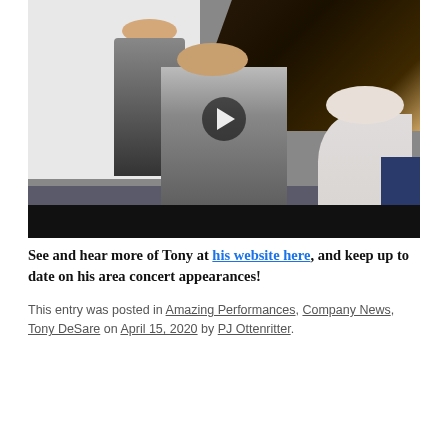[Figure (photo): A video thumbnail showing a man (Tony DeSare) sitting at a grand piano in a studio/room, smiling, with a woman with dark hair standing in front and an older man with white hair visible on the right. A play button overlay is visible in the center. The bottom portion of the thumbnail is a dark/black bar.]
See and hear more of Tony at his website here, and keep up to date on his area concert appearances!
This entry was posted in Amazing Performances, Company News, Tony DeSare on April 15, 2020 by PJ Ottenritter.